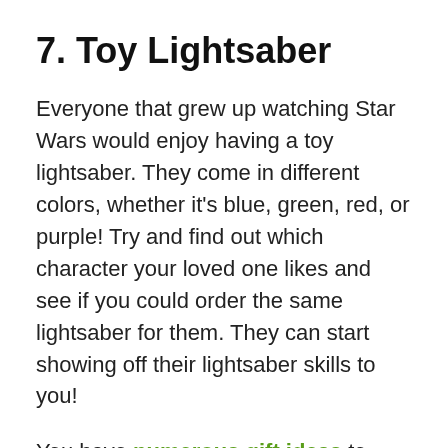7. Toy Lightsaber
Everyone that grew up watching Star Wars would enjoy having a toy lightsaber. They come in different colors, whether it's blue, green, red, or purple! Try and find out which character your loved one likes and see if you could order the same lightsaber for them. They can start showing off their lightsaber skills to you!
You have numerous gift ideas to choose from and if your loved ones have a specific fantasy preference, then getting them the perfect gift can be achievable. Overall, they will appreciate that you remembered how they love a specific character in a movie or a special item in that hit show they can't stop talking about. They will love the gift and it might even be the best gift they've ever received! Remember to do some